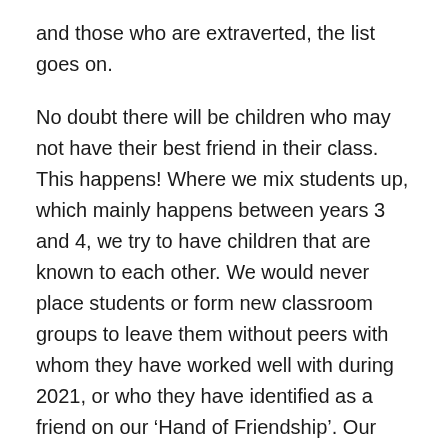and those who are extraverted, the list goes on.
No doubt there will be children who may not have their best friend in their class. This happens! Where we mix students up, which mainly happens between years 3 and 4, we try to have children that are known to each other. We would never place students or form new classroom groups to leave them without peers with whom they have worked well with during 2021, or who they have identified as a friend on our ‘Hand of Friendship’. Our teachers are wonderful observers and judges of the relationships in their rooms, and we tap into this expertise when making up class lists..
We encourage you to be positive about the class